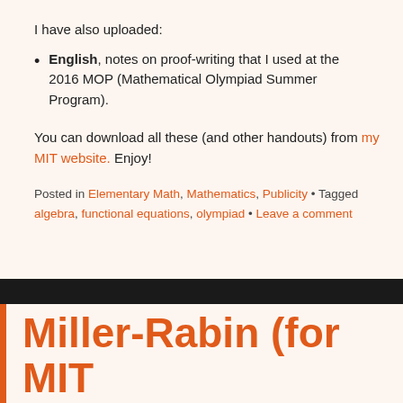I have also uploaded:
English, notes on proof-writing that I used at the 2016 MOP (Mathematical Olympiad Summer Program).
You can download all these (and other handouts) from my MIT website. Enjoy!
Posted in Elementary Math, Mathematics, Publicity • Tagged algebra, functional equations, olympiad • Leave a comment
Miller-Rabin (for MIT 18.434)